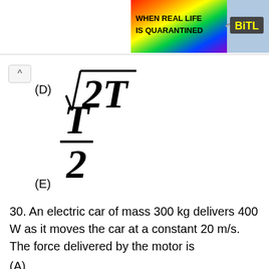[Figure (other): Advertisement banner with rainbow gradient background. Text reads WHEN REAL LIFE IS QUARANTINED with BitL logo and squiggle graphic.]
30. An electric car of mass 300 kg delivers 400 W as it moves the car at a constant 20 m/s. The force delivered by the motor is
(A)